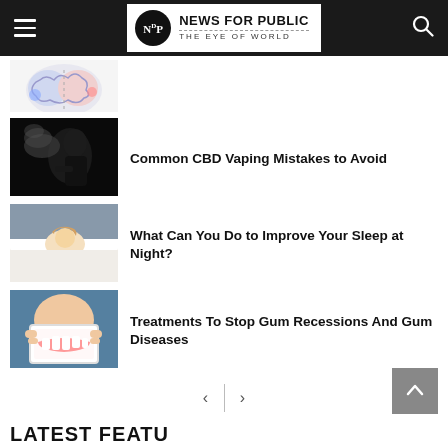News For Public — The Eye of World
[Figure (illustration): Partial colorful brain illustration at top of article list]
Common CBD Vaping Mistakes to Avoid
What Can You Do to Improve Your Sleep at Night?
Treatments To Stop Gum Recessions And Gum Diseases
< >
LATEST FEATU...